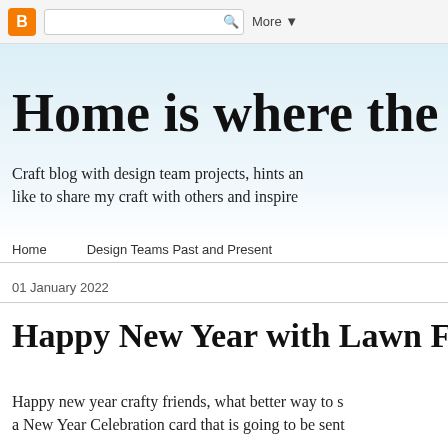Blogger | Search | More ▼
Home is where the craft
Craft blog with design team projects, hints an... like to share my craft with others and inspire...
Home
Design Teams Past and Present
01 January 2022
Happy New Year with Lawn Fawn's Scent
Happy new year crafty friends, what better way to s... a New Year Celebration card that is going to be sent...